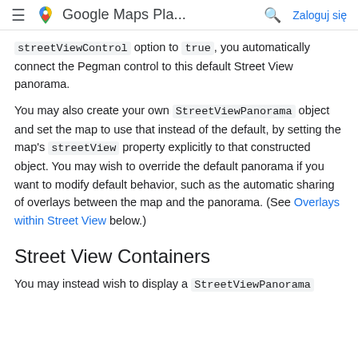Google Maps Pla...   Zaloguj się
streetViewControl option to true, you automatically connect the Pegman control to this default Street View panorama.
You may also create your own StreetViewPanorama object and set the map to use that instead of the default, by setting the map's streetView property explicitly to that constructed object. You may wish to override the default panorama if you want to modify default behavior, such as the automatic sharing of overlays between the map and the panorama. (See Overlays within Street View below.)
Street View Containers
You may instead wish to display a StreetViewPanorama